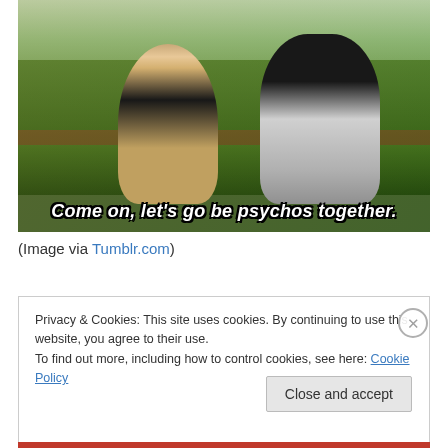[Figure (photo): A couple about to kiss outdoors with green hedges and trees in the background. White subtitle text reads: Come on, let's go be psychos together.]
(Image via Tumblr.com)
Privacy & Cookies: This site uses cookies. By continuing to use this website, you agree to their use.
To find out more, including how to control cookies, see here: Cookie Policy